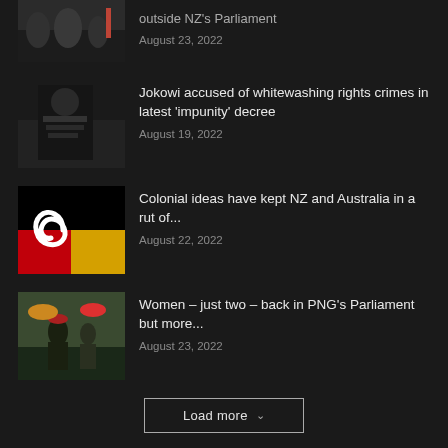[Figure (photo): Protest crowd photo, partially visible at top]
outside NZ's Parliament
August 23, 2022
[Figure (photo): Person wearing a Mashi Ngati shirt at a rally]
Jokowi accused of whitewashing rights crimes in latest ‘impunity’ decree
August 19, 2022
[Figure (photo): Combined Maori and Aboriginal Australian flag design - black, red, yellow with white spiral]
Colonial ideas have kept NZ and Australia in a rut of...
August 22, 2022
[Figure (photo): People at an outdoor event in PNG, woman in traditional dress]
Women – just two – back in PNG’s Parliament but more...
August 23, 2022
Load more
POPULAR CATEGORIES